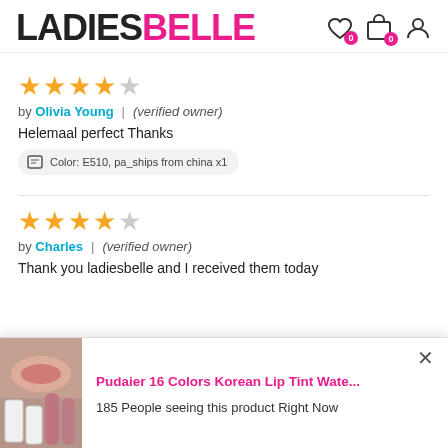LADIESBELLE
★★★★☆ by Olivia Young | (verified owner)
Helemaal perfect Thanks
Color: E510, pa_ships from china x1
★★★★☆ by Charles | (verified owner)
Thank you ladiesbelle and I received them today
[Figure (screenshot): Popup notification showing product: Pudaier 16 Colors Korean Lip Tint Wate... with lip product image and text '185 People seeing this product Right Now']